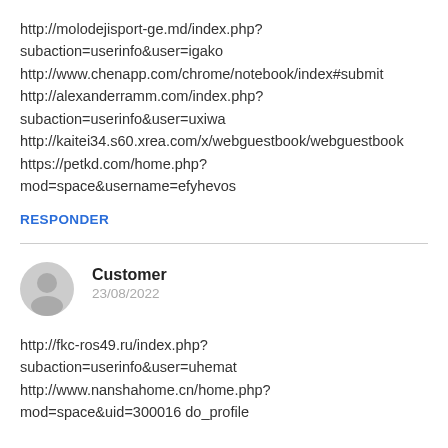http://molodejisport-ge.md/index.php?subaction=userinfo&user=igako http://www.chenapp.com/chrome/notebook/index#submit http://alexanderramm.com/index.php?subaction=userinfo&user=uxiwa http://kaitei34.s60.xrea.com/x/webguestbook/webguestbook https://petkd.com/home.php?mod=space&username=efyhevos
RESPONDER
Customer
23/08/2022
http://fkc-ros49.ru/index.php?subaction=userinfo&user=uhemat http://www.nanshahome.cn/home.php?mod=space&uid=300016 do_profile